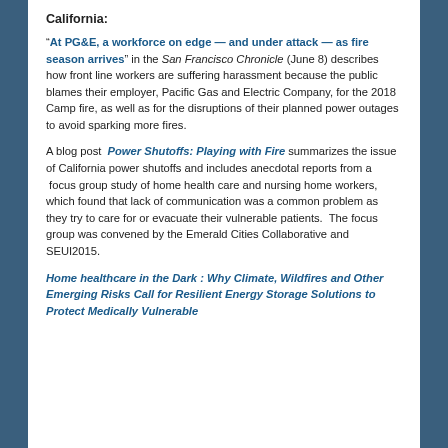California:
“At PG&E, a workforce on edge — and under attack — as fire season arrives” in the San Francisco Chronicle (June 8) describes how front line workers are suffering harassment because the public blames their employer, Pacific Gas and Electric Company, for the 2018 Camp fire, as well as for the disruptions of their planned power outages to avoid sparking more fires.
A blog post  Power Shutoffs: Playing with Fire summarizes the issue of California power shutoffs and includes anecdotal reports from a  focus group study of home health care and nursing home workers, which found that lack of communication was a common problem as they try to care for or evacuate their vulnerable patients.  The focus group was convened by the Emerald Cities Collaborative and SEUI2015.
Home healthcare in the Dark : Why Climate, Wildfires and Other Emerging Risks Call for Resilient Energy Storage Solutions to Protect Medically Vulnerable